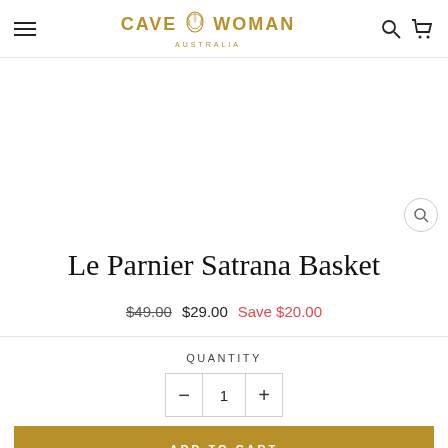Cave Woman Australia
[Figure (photo): Product image area (white/blank) for Le Parnier Satrana Basket with zoom icon in bottom right]
Le Parnier Satrana Basket
$49.00 $29.00 Save $20.00
QUANTITY
- 1 +
ADD TO CART